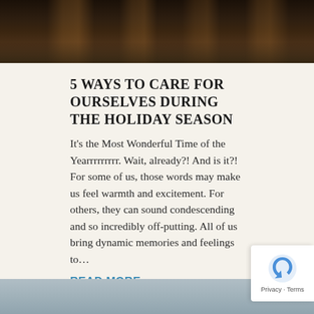[Figure (photo): Dark atmospheric photograph showing wooden beams or structure silhouetted against a warm amber/orange background, likely a bridge or architectural structure at sunset]
5 WAYS TO CARE FOR OURSELVES DURING THE HOLIDAY SEASON
It's the Most Wonderful Time of the Yearrrrrrrrr. Wait, already?! And is it?! For some of us, those words may make us feel warmth and excitement. For others, they can sound condescending and so incredibly off-putting. All of us bring dynamic memories and feelings to…
READ MORE